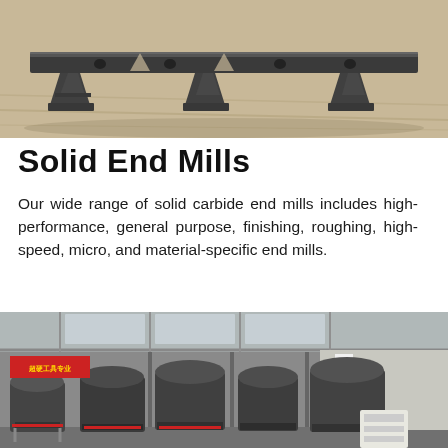[Figure (photo): Metal industrial bracket/rail component photographed on a wooden surface, showing machined steel parts with holes and Y-shaped supports]
Solid End Mills
Our wide range of solid carbide end mills includes high-performance, general purpose, finishing, roughing, high-speed, micro, and material-specific end mills.
[Figure (other): Red button/banner reading MORE INFO]
[Figure (photo): Industrial manufacturing facility interior showing large milling/grinding machines in a factory hall with Chinese signage on the walls]